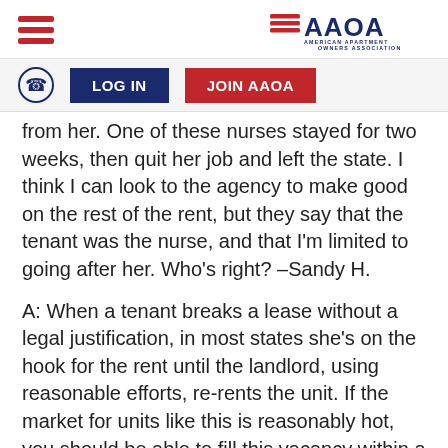[Figure (logo): AAOA American Apartment Owners Association logo with hamburger menu icon]
[Figure (screenshot): Navigation bar with phone icon, LOG IN button, and JOIN AAOA button]
from her. One of these nurses stayed for two weeks, then quit her job and left the state. I think I can look to the agency to make good on the rest of the rent, but they say that the tenant was the nurse, and that I'm limited to going after her. Who's right? –Sandy H.
A: When a tenant breaks a lease without a legal justification, in most states she's on the hook for the rent until the landlord, using reasonable efforts, re-rents the unit. If the market for units like this is reasonably hot, you should be able to fill this vacancy within a month or so, which would mean that you'd be entitled to compensation for that empty time. But if the market is soft, and you're unable to secure a replacement, you could be entitled to the entire balance of the rent...